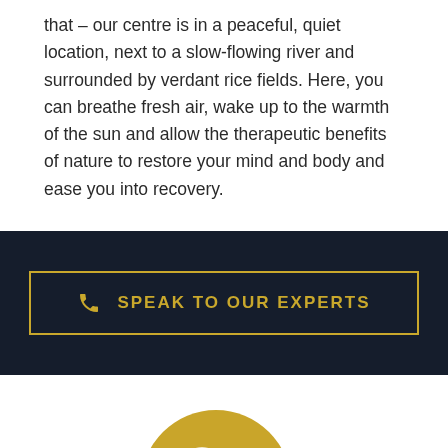that – our centre is in a peaceful, quiet location, next to a slow-flowing river and surrounded by verdant rice fields. Here, you can breathe fresh air, wake up to the warmth of the sun and allow the therapeutic benefits of nature to restore your mind and body and ease you into recovery.
[Figure (infographic): Dark navy band with a gold-bordered button containing a phone icon and text 'SPEAK TO OUR EXPERTS']
[Figure (illustration): Gold circle icon containing a clock and dollar sign with arrows, partially visible at bottom of page]